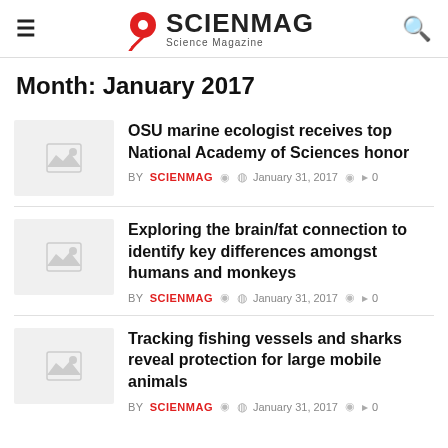SCIENMAG Science Magazine
Month: January 2017
OSU marine ecologist receives top National Academy of Sciences honor — BY SCIENMAG — January 31, 2017 — 0 comments
Exploring the brain/fat connection to identify key differences amongst humans and monkeys — BY SCIENMAG — January 31, 2017 — 0 comments
Tracking fishing vessels and sharks reveal protection for large mobile animals — BY SCIENMAG — January 31, 2017 — 0 comments